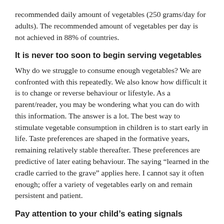recommended daily amount of vegetables (250 grams/day for adults). The recommended amount of vegetables per day is not achieved in 88% of countries.
It is never too soon to begin serving vegetables
Why do we struggle to consume enough vegetables? We are confronted with this repeatedly. We also know how difficult it is to change or reverse behaviour or lifestyle. As a parent/reader, you may be wondering what you can do with this information. The answer is a lot. The best way to stimulate vegetable consumption in children is to start early in life. Taste preferences are shaped in the formative years, remaining relatively stable thereafter. These preferences are predictive of later eating behaviour. The saying “learned in the cradle carried to the grave” applies here. I cannot say it often enough; offer a variety of vegetables early on and remain persistent and patient.
Pay attention to your child’s eating signals
We know from scientific research that babies are open to bitter and sour tastes in the first year, making this is the ideal time to offer your baby vegetables so they can learn to